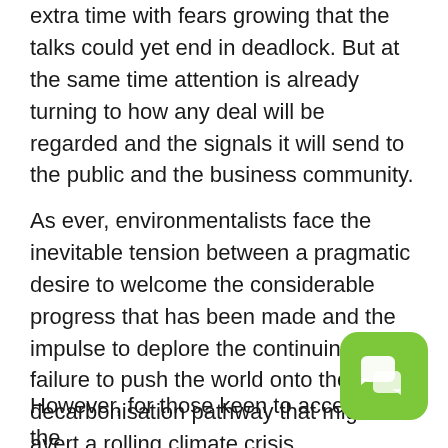extra time with fears growing that the talks could yet end in deadlock. But at the same time attention is already turning to how any deal will be regarded and the signals it will send to the public and the business community.
As ever, environmentalists face the inevitable tension between a pragmatic desire to welcome the considerable progress that has been made and the impulse to deplore the continuing failure to push the world onto the rapid decarbonisation pathway that might avert a rolling climate crisis.
However, for those keen to accentuate the positives there have been considerable victories
[Figure (illustration): Green rounded square chat/messaging icon with two speech bubble shapes in white]